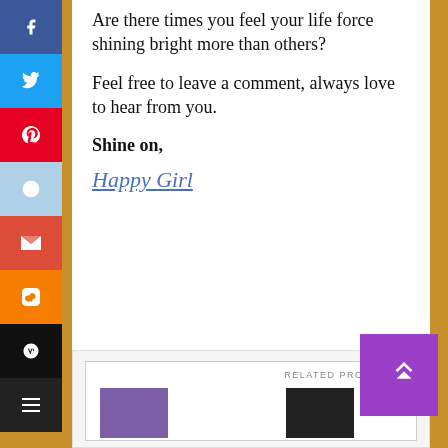[Figure (infographic): Vertical sidebar with social media share buttons: Facebook (blue), Twitter (cyan/blue), Pinterest (red), Reddit (light blue), Gmail (red), Blogger (orange), WordPress (black), menu (dark)]
Are there times you feel your life force shining bright more than others?
Feel free to leave a comment, always love to hear from you.
Shine on,
Happy Girl
RELATED PRODUCTS